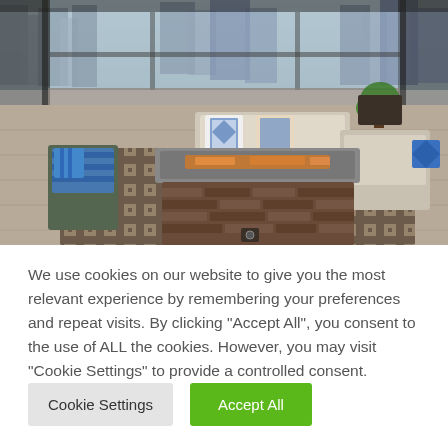[Figure (photo): Rooftop patio with outdoor furniture including sofas with decorative pillows, chairs with blue and white cushions, a rectangular stone fire pit table in the center on a patterned area rug, with city buildings visible through large windows in the background.]
We use cookies on our website to give you the most relevant experience by remembering your preferences and repeat visits. By clicking "Accept All", you consent to the use of ALL the cookies. However, you may visit "Cookie Settings" to provide a controlled consent.
Cookie Settings
Accept All